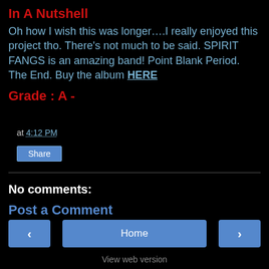In A Nutshell
Oh how I wish this was longer….I really enjoyed this project tho. There's not much to be said. SPIRIT FANGS is an amazing band! Point Blank Period. The End. Buy the album HERE
Grade : A -
at 4:12 PM
Share
No comments:
Post a Comment
< Home > View web version